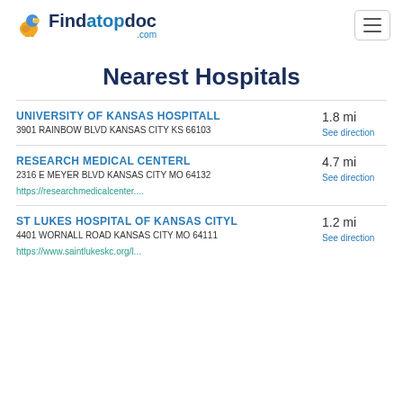Findatopdoc.com
Nearest Hospitals
UNIVERSITY OF KANSAS HOSPITALL
3901 RAINBOW BLVD KANSAS CITY KS 66103
1.8 mi
See direction
RESEARCH MEDICAL CENTERL
2316 E MEYER BLVD KANSAS CITY MO 64132
https://researchmedicalcenter....
4.7 mi
See direction
ST LUKES HOSPITAL OF KANSAS CITYL
4401 WORNALL ROAD KANSAS CITY MO 64111
https://www.saintlukeskc.org/l...
1.2 mi
See direction